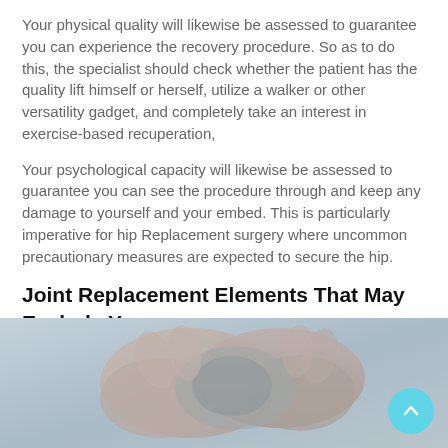Your physical quality will likewise be assessed to guarantee you can experience the recovery procedure. So as to do this, the specialist should check whether the patient has the quality lift himself or herself, utilize a walker or other versatility gadget, and completely take an interest in exercise-based recuperation,
Your psychological capacity will likewise be assessed to guarantee you can see the procedure through and keep any damage to yourself and your embed. This is particularly imperative for hip Replacement surgery where uncommon precautionary measures are expected to secure the hip.
Joint Replacement Elements That May Exclude You
[Figure (photo): Close-up photo of hands gripping a knee joint area, suggesting joint pain or replacement surgery context, with a light blue scroll-to-top button in the bottom right corner.]